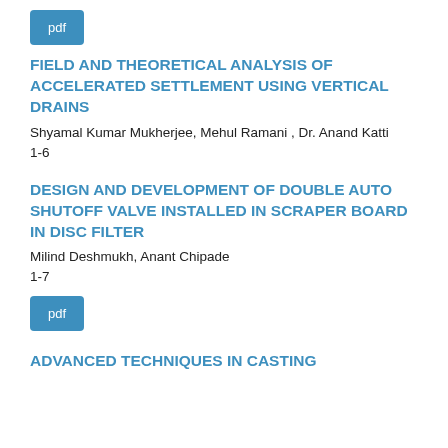[Figure (other): PDF button in blue]
FIELD AND THEORETICAL ANALYSIS OF ACCELERATED SETTLEMENT USING VERTICAL DRAINS
Shyamal Kumar Mukherjee, Mehul Ramani , Dr. Anand Katti
1-6
[Figure (other): PDF button in blue]
DESIGN AND DEVELOPMENT OF DOUBLE AUTO SHUTOFF VALVE INSTALLED IN SCRAPER BOARD IN DISC FILTER
Milind Deshmukh, Anant Chipade
1-7
ADVANCED TECHNIQUES IN CASTING